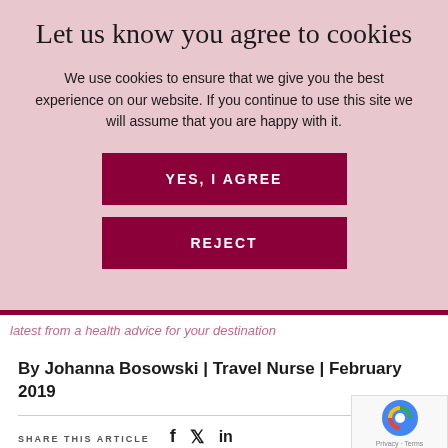Let us know you agree to cookies
We use cookies to ensure that we give you the best experience on our website. If you continue to use this site we will assume that you are happy with it.
YES, I AGREE
REJECT
latest from a health advice for your destination
By Johanna Bosowski | Travel Nurse | February 2019
SHARE THIS ARTICLE